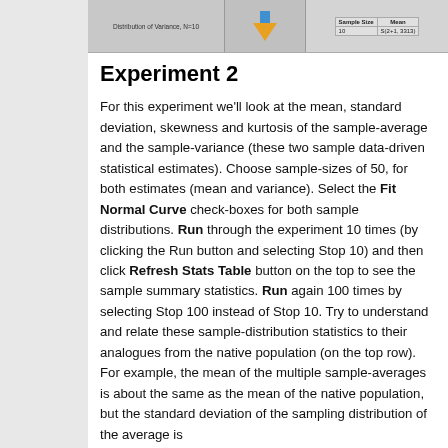[Figure (screenshot): Screenshot strip showing a distribution of variance simulation interface with a downward arrow icon and a stats table with Sample Size and Mean columns]
Experiment 2
For this experiment we'll look at the mean, standard deviation, skewness and kurtosis of the sample-average and the sample-variance (these two sample data-driven statistical estimates). Choose sample-sizes of 50, for both estimates (mean and variance). Select the Fit Normal Curve check-boxes for both sample distributions. Run through the experiment 10 times (by clicking the Run button and selecting Stop 10) and then click Refresh Stats Table button on the top to see the sample summary statistics. Run again 100 times by selecting Stop 100 instead of Stop 10. Try to understand and relate these sample-distribution statistics to their analogues from the native population (on the top row). For example, the mean of the multiple sample-averages is about the same as the mean of the native population, but the standard deviation of the sampling distribution of the average is